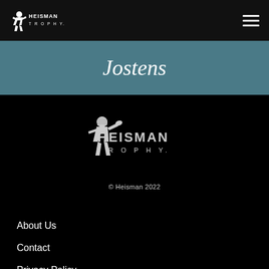[Figure (logo): Heisman Trophy logo in top navigation bar - small figure of football player with HEISMAN TROPHY text]
[Figure (logo): Jostens cursive script logo on teal/slate blue banner]
[Figure (logo): Large Heisman Trophy logo - football player figure with HEISMAN TROPHY text]
© Heisman 2022
About Us
Contact
Privacy Policy
Facebook
Twitter